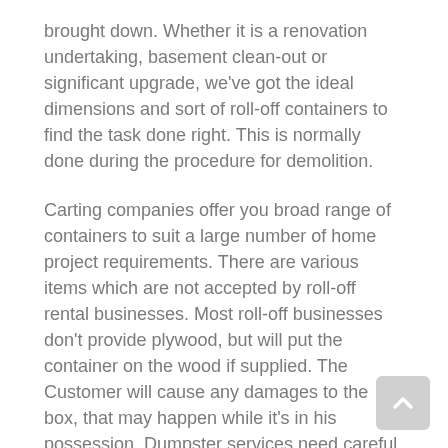brought down. Whether it is a renovation undertaking, basement clean-out or significant upgrade, we've got the ideal dimensions and sort of roll-off containers to find the task done right. This is normally done during the procedure for demolition.
Carting companies offer you broad range of containers to suit a large number of home project requirements. There are various items which are not accepted by roll-off rental businesses. Most roll-off businesses don't provide plywood, but will put the container on the wood if supplied. The Customer will cause any damages to the box, that may happen while it's in his possession. Dumpster services need careful association with businesses who will be hired for dump-off services since there are separate prices and packages of distinct businesses. We even offer you same-day support. Same-day service is often offered.
Our scales are certified every 90 days, instead of the yearly inspections needed by the state. They can suggest the most suitable size and the correct service to satisfy your needs. It's all